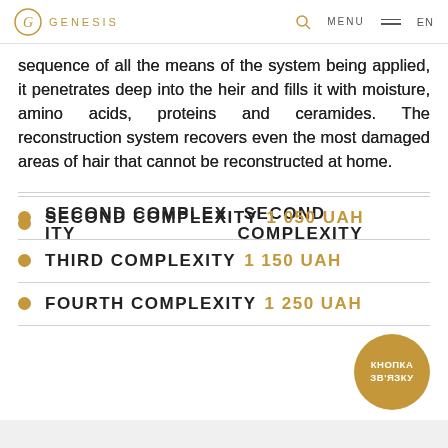GENESIS
sequence of all the means of the system being applied, it penetrates deep into the heir and fills it with moisture, amino acids, proteins and ceramides. The reconstruction system recovers even the most damaged areas of hair that cannot be reconstructed at home.
SECOND COMPLEXITY 1 050 UAH
THIRD COMPLEXITY 1 150 UAH
FOURTH COMPLEXITY 1 250 UAH